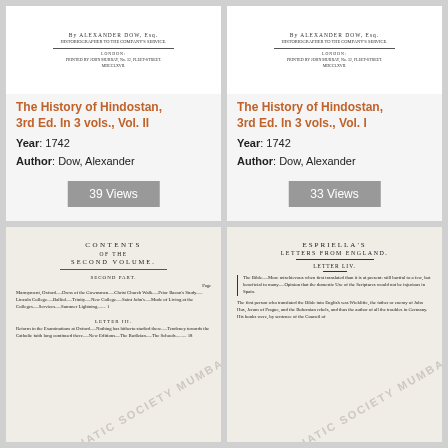[Figure (illustration): Scan of old book title page for The History of Hindostan Vol. II]
The History of Hindostan, 3rd Ed. In 3 vols., Vol. II
Year: 1742
Author: Dow, Alexander
39 Views
[Figure (illustration): Scan of old book title page for The History of Hindostan Vol. I]
The History of Hindostan, 3rd Ed. In 3 vols., Vol. I
Year: 1742
Author: Dow, Alexander
33 Views
[Figure (illustration): Scan of old book contents page: CONTENTS OF THE SECOND VOLUME with watermark ASIATIC SOCIETY MUMBAI]
[Figure (illustration): Scan of old book page: ESPRIELLA'S LETTERS FROM ENGLAND, LETTER LIV with watermark ASIATIC SOCIETY MUMBAI]